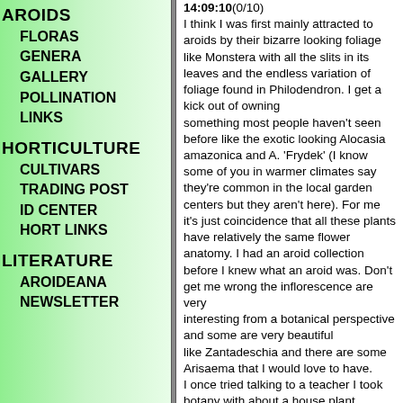AROIDS
FLORAS
GENERA
GALLERY
POLLINATION
LINKS
HORTICULTURE
CULTIVARS
TRADING POST
ID CENTER
HORT LINKS
LITERATURE
AROIDEANA
NEWSLETTER
14:09:10(0/10)
I think I was first mainly attracted to aroids by their bizarre looking foliage like Monstera with all the slits in its leaves and the endless variation of foliage found in Philodendron. I get a kick out of owning something most people haven't seen before like the exotic looking Alocasia amazonica and A. 'Frydek' (I know some of you in warmer climates say they're common in the local garden centers but they aren't here). For me it's just coincidence that all these plants have relatively the same flower anatomy. I had an aroid collection before I knew what an aroid was. Don't get me wrong the inflorescence are very interesting from a botanical perspective and some are very beautiful like Zantadeschia and there are some Arisaema that I would love to have.
I once tried talking to a teacher I took botany with about a house plant I have and she replied "I don't know